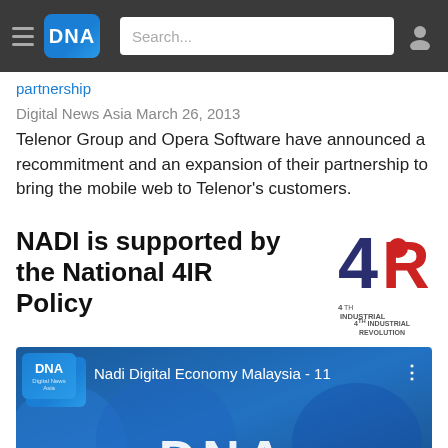DNA - Digital News Asia
partnership
Digital News Asia March 26, 2013
Telenor Group and Opera Software have announced a recommitment and an expansion of their partnership to bring the mobile web to Telenor's customers.
NADI is supported by the National 4IR Policy
[Figure (logo): 4th Industrial Revolution logo with number 4 and letter R in red and dark blue]
[Figure (screenshot): YouTube video thumbnail for Nadi Digital Economy Malaysia - 11 showing DNA logo on blue background]